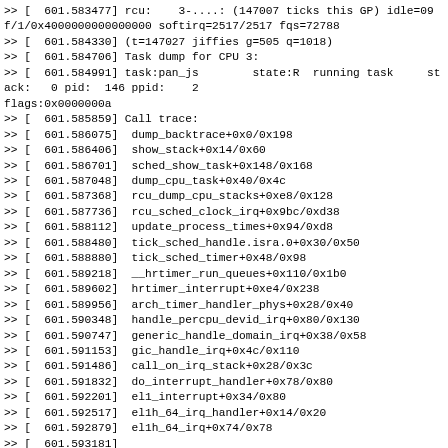>> [  601.583477] rcu:    3-....: (147007 ticks this GP) idle=09f/1/0x4000000000000000 softirq=2517/2517 fqs=72788
>> [  601.584330] (t=147027 jiffies g=505 q=1018)
>> [  601.584706] Task dump for CPU 3:
>> [  601.584991] task:pan_js        state:R running task     stack:   0 pid:  146 ppid:    2 flags:0x0000000a
>> [  601.585859] Call trace:
>> [  601.586075]  dump_backtrace+0x0/0x198
>> [  601.586406]  show_stack+0x14/0x60
>> [  601.586701]  sched_show_task+0x148/0x168
>> [  601.587048]  dump_cpu_task+0x40/0x4c
>> [  601.587368]  rcu_dump_cpu_stacks+0xe8/0x128
>> [  601.587736]  rcu_sched_clock_irq+0x9bc/0xd38
>> [  601.588112]  update_process_times+0x94/0xd8
>> [  601.588480]  tick_sched_handle.isra.0+0x30/0x50
>> [  601.588880]  tick_sched_timer+0x48/0x98
>> [  601.589218]  __hrtimer_run_queues+0x110/0x1b0
>> [  601.589602]  hrtimer_interrupt+0xe4/0x238
>> [  601.589956]  arch_timer_handler_phys+0x28/0x40
>> [  601.590348]  handle_percpu_devid_irq+0x80/0x130
>> [  601.590747]  generic_handle_domain_irq+0x38/0x58
>> [  601.591153]  gic_handle_irq+0x4c/0x110
>> [  601.591486]  call_on_irq_stack+0x28/0x3c
>> [  601.591832]  do_interrupt_handler+0x78/0x80
>> [  601.592201]  el1_interrupt+0x34/0x80
>> [  601.592517]  el1h_64_irq_handler+0x14/0x20
>> [  601.592879]  el1h_64_irq+0x74/0x78
>> [  601.593181]